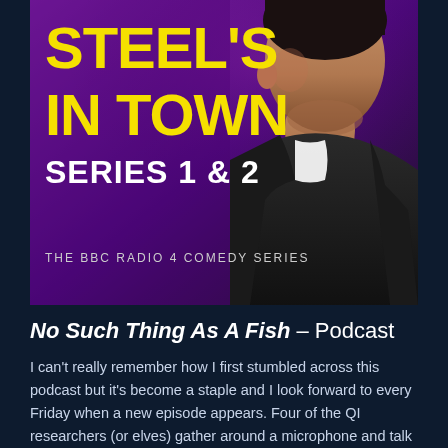[Figure (illustration): Book/podcast cover art for 'Steel's In Town Series 1 & 2 - The BBC Radio 4 Comedy Series'. Purple/dark background with a man in a dark jacket visible on the right side. Yellow bold text reads 'STEEL'S IN TOWN' and white bold text reads 'SERIES 1 & 2'. Smaller text reads 'THE BBC RADIO 4 COMEDY SERIES'.]
No Such Thing As A Fish – Podcast
I can't really remember how I first stumbled across this podcast but it's become a staple and I look forward to every Friday when a new episode appears. Four of the QI researchers (or elves) gather around a microphone and talk